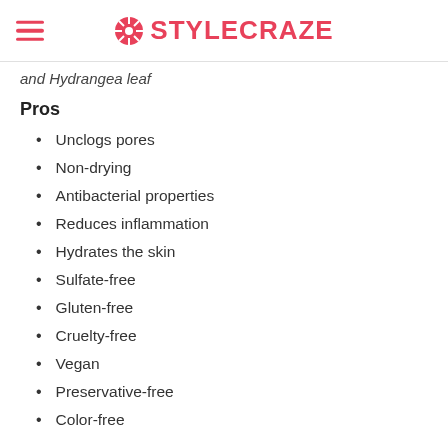STYLECRAZE
and Hydrangea leaf
Pros
Unclogs pores
Non-drying
Antibacterial properties
Reduces inflammation
Hydrates the skin
Sulfate-free
Gluten-free
Cruelty-free
Vegan
Preservative-free
Color-free